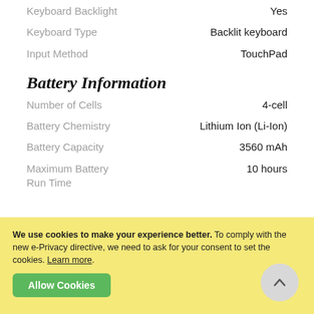Keyboard Backlight | Yes
Keyboard Type | Backlit keyboard
Input Method | TouchPad
Battery Information
Number of Cells | 4-cell
Battery Chemistry | Lithium Ion (Li-Ion)
Battery Capacity | 3560 mAh
Maximum Battery Run Time | 10 hours
We use cookies to make your experience better. To comply with the new e-Privacy directive, we need to ask for your consent to set the cookies. Learn more.